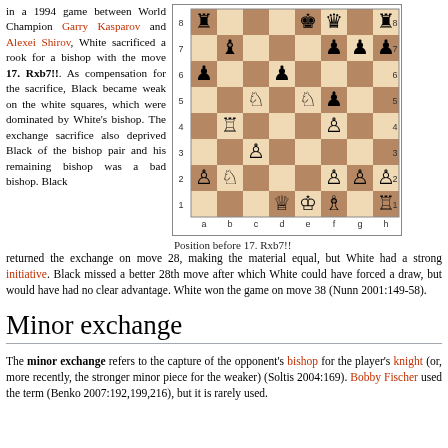in a 1994 game between World Champion Garry Kasparov and Alexei Shirov, White sacrificed a rook for a bishop with the move 17. Rxb7!!. As compensation for the sacrifice, Black became weak on the white squares, which were dominated by White's bishop. The exchange sacrifice also deprived Black of the bishop pair and his remaining bishop was a bad bishop. Black returned the exchange on move 28, making the material equal, but White had a strong initiative. Black missed a better 28th move after which White could have forced a draw, but would have had no clear advantage. White won the game on move 38 (Nunn 2001:149-58).
[Figure (other): Chess board diagram showing position before 17. Rxb7!!]
Position before 17. Rxb7!!
Minor exchange
The minor exchange refers to the capture of the opponent's bishop for the player's knight (or, more recently, the stronger minor piece for the weaker) (Soltis 2004:169). Bobby Fischer used the term (Benko 2007:192,199,216), but it is rarely used.